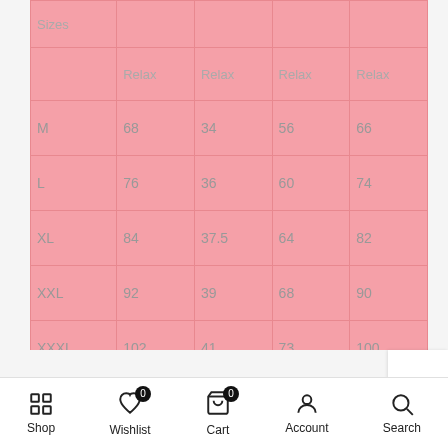| Sizes | Relax | Relax | Relax | Relax |
| --- | --- | --- | --- | --- |
| M | 68 | 34 | 56 | 66 |
| L | 76 | 36 | 60 | 74 |
| XL | 84 | 37.5 | 64 | 82 |
| XXL | 92 | 39 | 68 | 90 |
| XXXL | 102 | 41 | 73 | 100 |
| Elasticity |  | High |  |  |
Shop  Wishlist 0  Cart 0  Account  Search